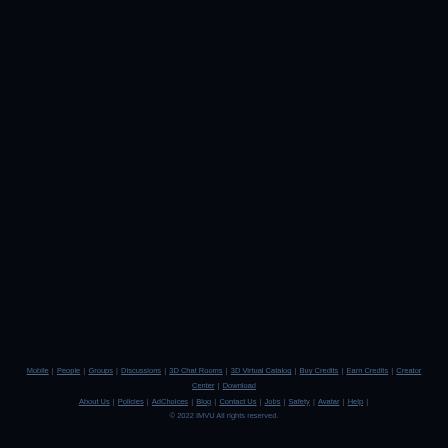Mobile | People | Groups | Discussions | 3D Chat Rooms | 3D Virtual Catalog | Buy Credits | Earn Credits | Creator Center | Download
About Us | Policies | AdChoices | Blog | Contact Us | Jobs | Safety | Avatar | Help |
© 2022 IMVU All rights reserved.